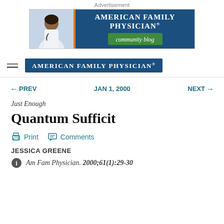Advertisement
[Figure (logo): American Family Physician community blog advertisement banner]
[Figure (logo): American Family Physician navigation logo in blue bar]
← PREV   JAN 1, 2000   NEXT →
Just Enough
Quantum Sufficit
Print   Comments
JESSICA GREENE
Am Fam Physician. 2000;61(1):29-30